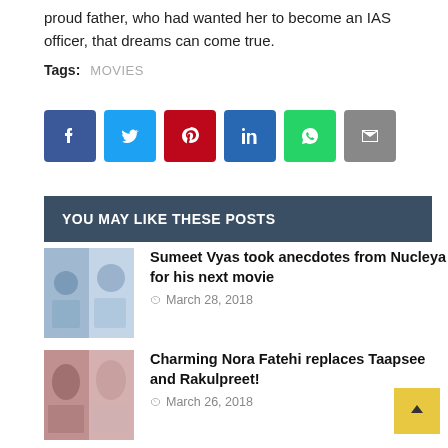proud father, who had wanted her to become an IAS officer, that dreams can come true.
Tags: MOVIES
[Figure (infographic): Social share buttons: Facebook, Twitter, Pinterest, LinkedIn, WhatsApp, Email]
YOU MAY LIKE THESE POSTS
[Figure (photo): Thumbnail image for Sumeet Vyas article]
Sumeet Vyas took anecdotes from Nucleya for his next movie
March 28, 2018
[Figure (photo): Thumbnail image for Nora Fatehi article]
Charming Nora Fatehi replaces Taapsee and Rakulpreet!
March 26, 2018
[Figure (photo): Thumbnail image for Nidhhi Agerwal article]
Nidhhi Agerwal signs her second film with KriArj Entertainment!
March 06, 2018